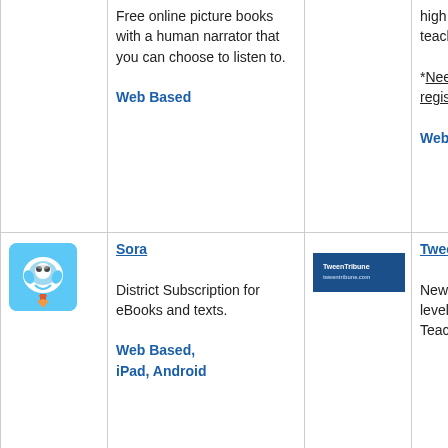Free online picture books with a human narrator that you can choose to listen to.
Web Based
high quality eBooks for teachers.
*Needs informed consent if registering students
Web Based, iPad, Android
[Figure (logo): Sora app logo - blue rocket character]
Sora
District Subscription for eBooks and texts.
Web Based, iPad, Android
[Figure (logo): TweenTribune logo - dark blue banner]
TweenTribune
New articles with Lexile levels to choose from. Teachers can find lesson